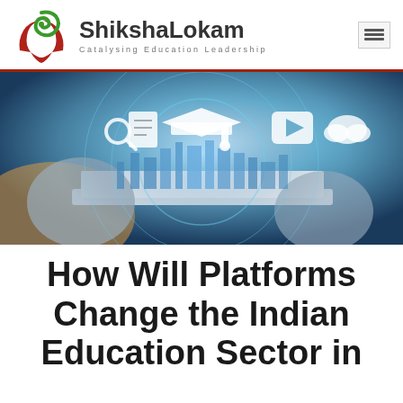ShikshaLokam – Catalysing Education Leadership
[Figure (photo): Person typing on a laptop with holographic education icons (graduation cap, play button, cloud, magnifier, notebook) and a city skyline emanating from the screen in a blue digital light theme.]
How Will Platforms Change the Indian Education Sector in